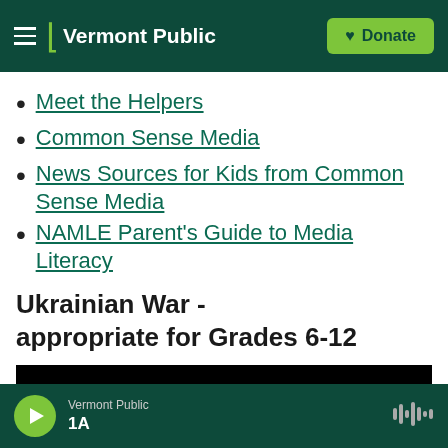Vermont Public | Donate
Meet the Helpers
Common Sense Media
News Sources for Kids from Common Sense Media
NAMLE Parent's Guide to Media Literacy
Ukrainian War - appropriate for Grades 6-12
[Figure (screenshot): Dark/black video preview bar]
Vermont Public | 1A